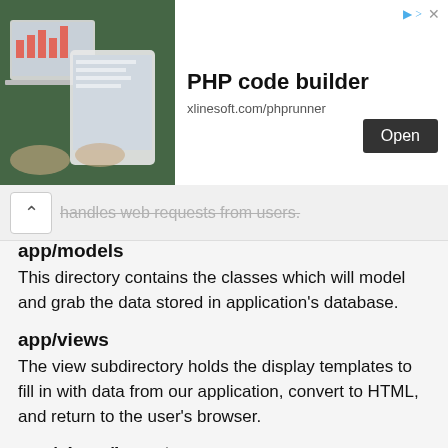[Figure (screenshot): Advertisement banner for PHP code builder by xlinesoft.com/phprunner, showing a tablet/laptop image on the left, bold title 'PHP code builder', URL 'xlinesoft.com/phprunner', and an 'Open' button on the right.]
handles web requests from users.
app/models
This directory contains the classes which will model and grab the data stored in application's database.
app/views
The view subdirectory holds the display templates to fill in with data from our application, convert to HTML, and return to the user's browser.
app/views/layouts
Holds the template files for layouts to be used with views. This models the common